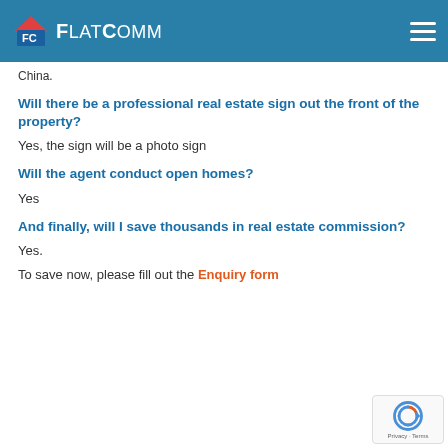FlatComm
China.
Will there be a professional real estate sign out the front of the property?
Yes, the sign will be a photo sign
Will the agent conduct open homes?
Yes
And finally, will I save thousands in real estate commission?
Yes.
To save now, please fill out the Enquiry form